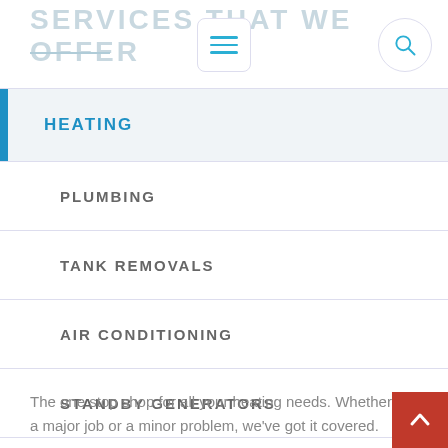SERVICES THAT WE OFFER
HEATING
PLUMBING
TANK REMOVALS
AIR CONDITIONING
STANDBY GENERATORS
OIL & GAS CONVERSIONS
The one stop shop for all your heating needs. Whether it's a major job or a minor problem, we've got it covered.